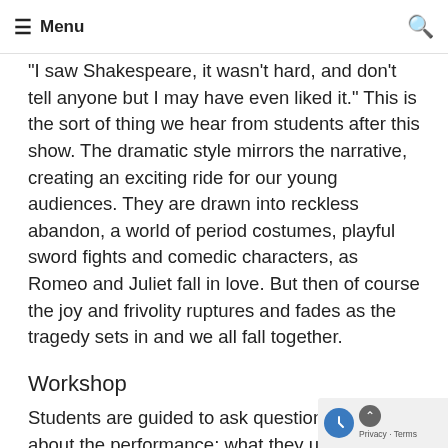Menu
"I saw Shakespeare, it wasn't hard, and don't tell anyone but I may have even liked it." This is the sort of thing we hear from students after this show. The dramatic style mirrors the narrative, creating an exciting ride for our young audiences. They are drawn into reckless abandon, a world of period costumes, playful sword fights and comedic characters, as Romeo and Juliet fall in love. But then of course the joy and frivolity ruptures and fades as the tragedy sets in and we all fall together.
Workshop
Students are guided to ask questions and talk about the performance; what they understood, what they liked or didn't. We often hear the comment that Romeo and Juliet is a play about two dumb teenagers and... We explore this idea so students see how what s... to be an off-hand comment could form the basis...